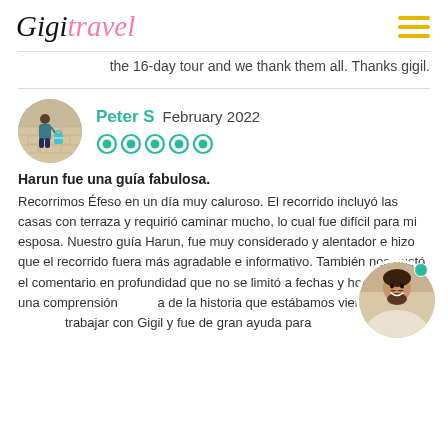GigiTravel
the 16-day tour and we thank them all. Thanks gigil.
Peter S  February 2022
[Figure (other): 5 TripAdvisor green circle rating symbols (full 5-star rating)]
Harun fue una guía fabulosa.
Recorrimos Éfeso en un día muy caluroso. El recorrido incluyó las casas con terraza y requirió caminar mucho, lo cual fue difícil para mi esposa. Nuestro guía Harun, fue muy considerado y alentador e hizo que el recorrido fuera más agradable e informativo. También nos gustó el comentario en profundidad que no se limitó a fechas y horas, sino a una comprensión a de la historia que estábamos viendo. Fue trabajar con Gigil y fue de gran ayuda para